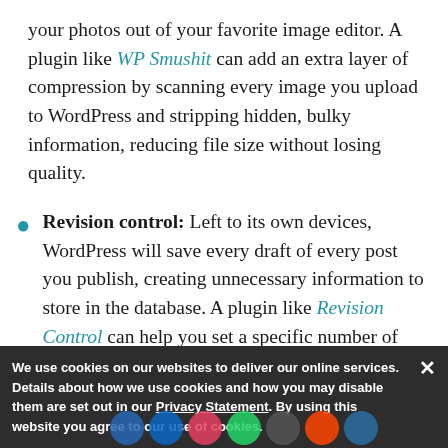your photos out of your favorite image editor. A plugin like WP Smushit can add an extra layer of compression by scanning every image you upload to WordPress and stripping hidden, bulky information, reducing file size without losing quality.
Revision control: Left to its own devices, WordPress will save every draft of every post you publish, creating unnecessary information to store in the database. A plugin like Revision Control can help you set a specific number of revisions to save. The key is to find a balance between not losing your revision history.
We use cookies on our websites to deliver our online services. Details about how we use cookies and how you may disable them are set out in our Privacy Statement. By using this website you agree to our use of cookies.